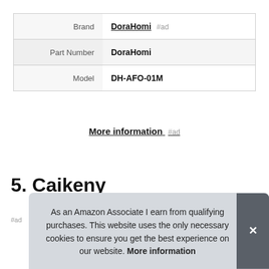| Label | Value |
| --- | --- |
| Brand | DoraHomi #ad |
| Part Number | DoraHomi |
| Model | DH-AFO-01M |
More information #ad
5. Caikeny
#ad
As an Amazon Associate I earn from qualifying purchases. This website uses the only necessary cookies to ensure you get the best experience on our website. More information